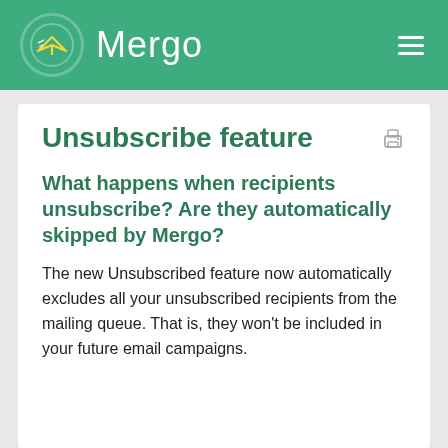Mergo
Unsubscribe feature
What happens when recipients unsubscribe? Are they automatically skipped by Mergo?
The new Unsubscribed feature now automatically excludes all your unsubscribed recipients from the mailing queue. That is, they won't be included in your future email campaigns.